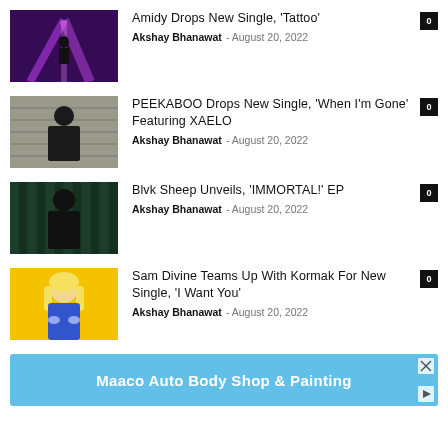Amidy Drops New Single, 'Tattoo' — Akshay Bhanawat — August 20, 2022 — 0
PEEKABOO Drops New Single, 'When I'm Gone' Featuring XAELO — Akshay Bhanawat — August 20, 2022 — 0
Blvk Sheep Unveils, 'IMMORTAL!' EP — Akshay Bhanawat — August 20, 2022 — 0
Sam Divine Teams Up With Kormak For New Single, 'I Want You' — Akshay Bhanawat — August 20, 2022 — 0
[Figure (infographic): Maaco Auto Body Shop & Painting advertisement banner in blue]